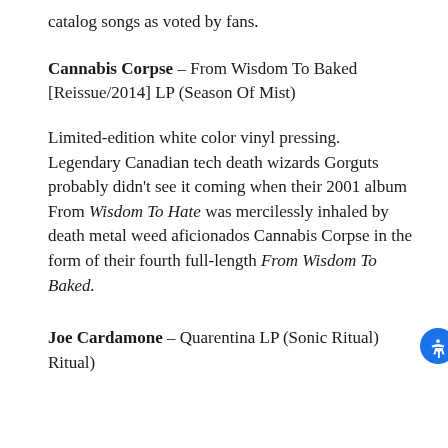catalog songs as voted by fans.
Cannabis Corpse – From Wisdom To Baked [Reissue/2014] LP (Season Of Mist)
Limited-edition white color vinyl pressing. Legendary Canadian tech death wizards Gorguts probably didn't see it coming when their 2001 album From Wisdom To Hate was mercilessly inhaled by death metal weed aficionados Cannabis Corpse in the form of their fourth full-length From Wisdom To Baked.
Joe Cardamone – Quarentina LP (Sonic Ritual)